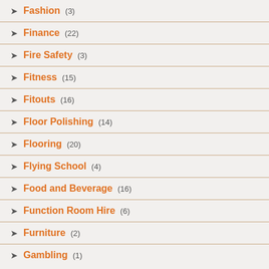Fashion (3)
Finance (22)
Fire Safety (3)
Fitness (15)
Fitouts (16)
Floor Polishing (14)
Flooring (20)
Flying School (4)
Food and Beverage (16)
Function Room Hire (6)
Furniture (2)
Gambling (1)